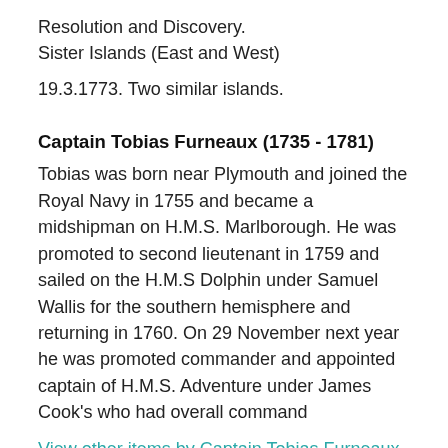Resolution and Discovery.
Sister Islands (East and West)
19.3.1773. Two similar islands.
Captain Tobias Furneaux (1735 - 1781)
Tobias was born near Plymouth and joined the Royal Navy in 1755 and became a midshipman on H.M.S. Marlborough. He was promoted to second lieutenant in 1759 and sailed on the H.M.S Dolphin under Samuel Wallis for the southern hemisphere and returning in 1760. On 29 November next year he was promoted commander and appointed captain of H.M.S. Adventure under James Cook's who had overall command
View other items by Captain Tobias Furneaux